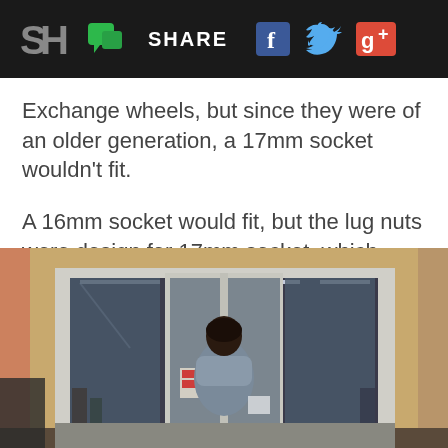SH SHARE
Exchange wheels, but since they were of an older generation, a 17mm socket wouldn't fit.

A 16mm socket would fit, but the lug nuts were design for 17mm socket, which meant that we were pretty much screwed. Shit.
[Figure (photo): Person standing at entrance of an auto parts or hardware store, viewed from behind, looking through glass doors into the store interior with fluorescent lighting]